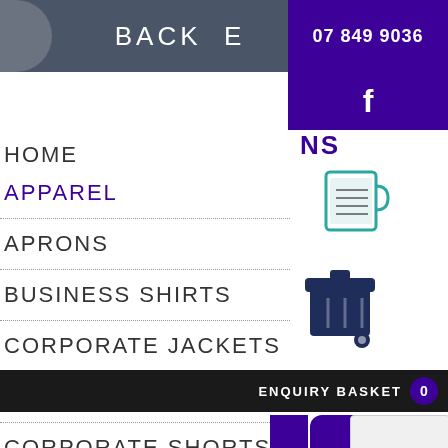BACK   E   07 849 9036
HOME
APPAREL
APRONS
BUSINESS SHIRTS
CORPORATE JACKETS
CORPORATE PANTS
CORPORATE SHORTS
DRESSES
HOODIES
[Figure (logo): Facebook icon in purple bar]
[Figure (illustration): Mug/cup icon with teal border]
[Figure (illustration): Shopping basket/enquiry basket icon in dark navy]
ENQUIRY BASKET  0